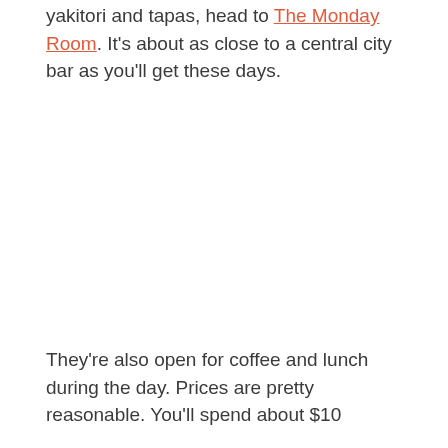yakitori and tapas, head to The Monday Room. It's about as close to a central city bar as you'll get these days.
They're also open for coffee and lunch during the day. Prices are pretty reasonable. You'll spend about $10...